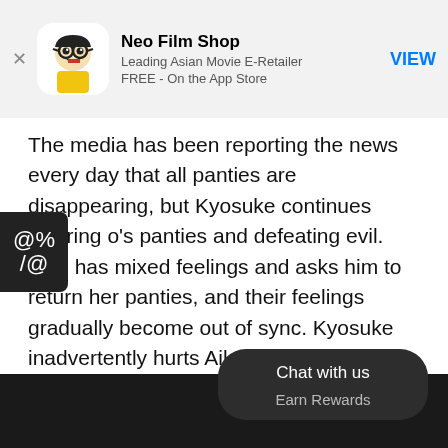[Figure (other): Ad banner for Neo Film Shop app showing cartoon mascot icon, title 'Neo Film Shop', subtitle 'Leading Asian Movie E-Retailer', text 'FREE - On the App Store', and blue VIEW button]
The media has been reporting the news every day that all panties are disappearing, but Kyosuke continues wearing o's panties and defeating evil. Aiko has mixed feelings and asks him to return her panties, and their feelings gradually become out of sync. Kyosuke inadvertently hurts Aiko's feelings, unaware of the hateful gaze of their classmate Tadashi Makoto. In the unprecedented crisis of losing Aiko's affection and all the panties completely vanishing from the world, the most powerful enemy challenges hentai Kamen.
[Figure (other): Dark bottom section of page (movie image area)]
Chat with us
Earn Rewards